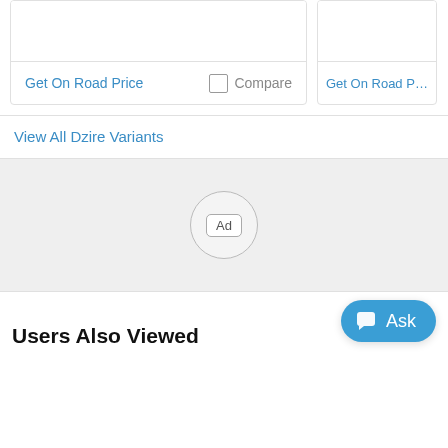Get On Road Price
Compare
Get On Road Price
View All Dzire Variants
[Figure (other): Ad placeholder circle with 'Ad' label inside a rounded rectangle, centered on a light gray background]
Users Also Viewed
[Figure (other): Ask button with chat icon, blue rounded pill shape, reading 'Ask']